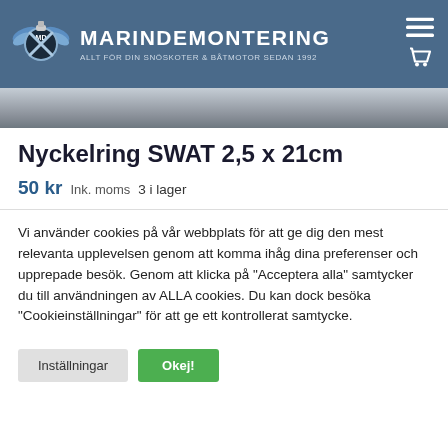MARINDEMONTERING — ALLT FÖR DIN SNÖSKOTER & BÅTMOTOR SEDAN 1992
[Figure (photo): Partial photo strip, grey/silver surface background]
Nyckelring SWAT 2,5 x 21cm
50 kr  Ink. moms  3 i lager
Vi använder cookies på vår webbplats för att ge dig den mest relevanta upplevelsen genom att komma ihåg dina preferenser och upprepade besök. Genom att klicka på "Acceptera alla" samtycker du till användningen av ALLA cookies. Du kan dock besöka "Cookieinställningar" för att ge ett kontrollerat samtycke.
Inställningar
Okej!